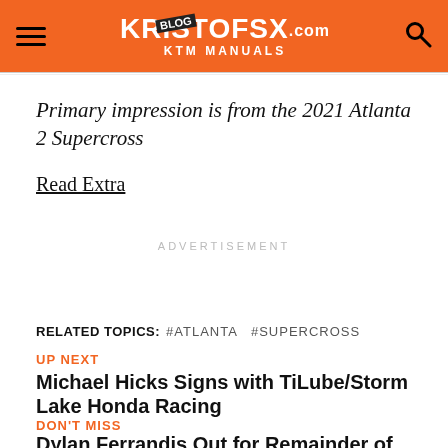KRISTOFSX.com BLOG KTM MANUALS
Primary impression is from the 2021 Atlanta 2 Supercross
Read Extra
ADVERTISEMENT
RELATED TOPICS: #ATLANTA #SUPERCROSS
UP NEXT
Michael Hicks Signs with TiLube/Storm Lake Honda Racing
DON'T MISS
Dylan Ferrandis Out for Remainder of SX, Eying Title Defense in Pro Motocross